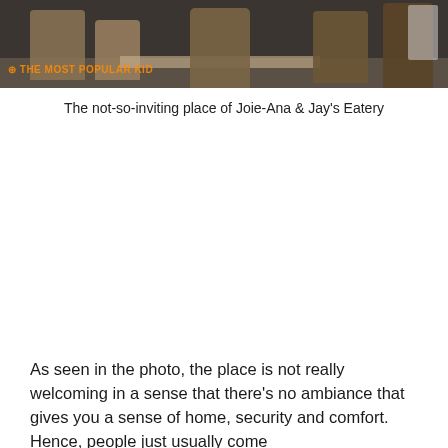[Figure (photo): Photo of Joie-Ana & Jay's Eatery interior showing wooden chairs and tables in a dim, uninviting setting with a watermark overlay reading 'THE MOST POPULAR KID']
The not-so-inviting place of Joie-Ana & Jay's Eatery
As seen in the photo, the place is not really welcoming in a sense that there's no ambiance that gives you a sense of home, security and comfort. Hence, people just usually come